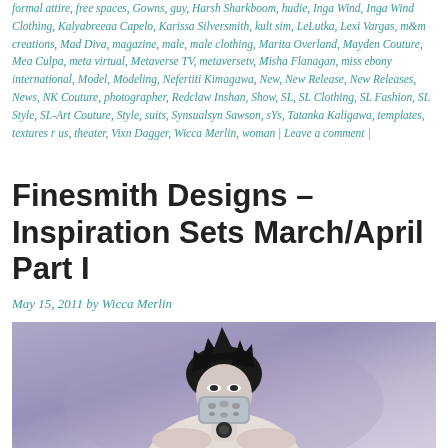formal attire, free spaces, Gowns, guy, Harsh Sharkboom, hudie, Inga Wind, Inga Wind Clothing, Kalyabreeaa Capelo, Karissa Silversmith, kult sim, LeLutka, Lexi Vargas, m&m creations, Mad Diva, magazine, male, male clothing, Marita Overland, Mayden Couture, Mea Culpa, meta virtual, Metaverse TV, metaversetv, Misha Flanagan, miss ebony international, Model, Modeling, Nefertiti Kimagawa, New, New Release, New Releases, News, NK Couture, photographer, Redclaw Inshan, Show, SL, SL Clothing, SL Fashion, SL Style, SL-Art Couture, Style, suits, Synsualsyn Sawson, sYs, Tatanka Kaligawa, templates, textures r us, theater, Vixn Dagger, Wicca Merlin, woman | Leave a comment |
Finesmith Designs – Inspiration Sets March/April Part I
May 15, 2011 by Wicca Merlin
[Figure (photo): A fashion photo showing a virtual avatar/model with dark spiky hair and a silver/metallic face covering, photographed against a purple-gray background. The style is editorial fashion photography from Second Life virtual world.]